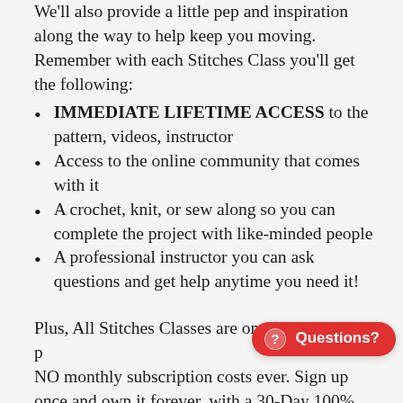We'll also provide a little pep and inspiration along the way to help keep you moving. Remember with each Stitches Class you'll get the following:
IMMEDIATE LIFETIME ACCESS to the pattern, videos, instructor
Access to the online community that comes with it
A crochet, knit, or sew along so you can complete the project with like-minded people
A professional instructor you can ask questions and get help anytime you need it!
Plus, All Stitches Classes are one-time p… NO monthly subscription costs ever. Sign up once and own it forever, with a 30-Day 100% money-back guarantee to back it. Sign up today for this class and join along.